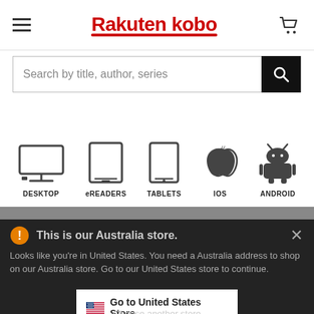Rakuten kobo
Search by title, author, series
[Figure (infographic): Five device category icons in a row: Desktop monitor, eReader, Tablet, iOS Apple logo, Android robot. Labels below each: DESKTOP, eREADERS, TABLETS, IOS, ANDROID]
This is our Australia store. Looks like you're in United States. You need a Australia address to shop on our Australia store. Go to our United States store to continue.
Go to United States Store
Choose another store